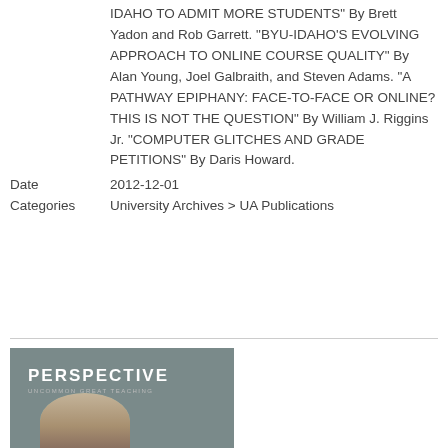IDAHO TO ADMIT MORE STUDENTS" By Brett Yadon and Rob Garrett. "BYU-IDAHO'S EVOLVING APPROACH TO ONLINE COURSE QUALITY" By Alan Young, Joel Galbraith, and Steven Adams. "A PATHWAY EPIPHANY: FACE-TO-FACE OR ONLINE? THIS IS NOT THE QUESTION" By William J. Riggins Jr. "COMPUTER GLITCHES AND GRADE PETITIONS" By Daris Howard.
Date	2012-12-01
Categories	University Archives > UA Publications
[Figure (photo): Cover of a publication titled PERSPECTIVE with subtitle text about teaching. Shows a partial image of a person's face/head.]